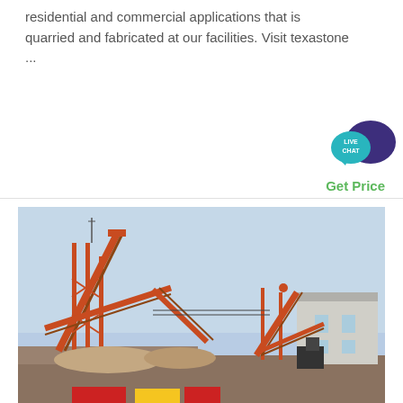residential and commercial applications that is quarried and fabricated at our facilities. Visit texastone ...
[Figure (illustration): Live Chat speech bubble widget with teal/dark blue speech bubbles and white text reading LIVE CHAT]
Get Price
[Figure (photo): Industrial quarry or mining facility with large orange conveyor belt structures, machinery, and a building in the background under a blue sky]